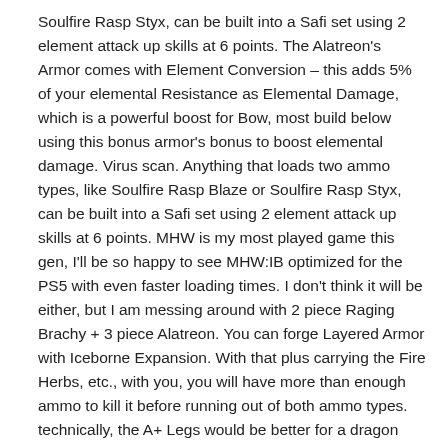Soulfire Rasp Styx, can be built into a Safi set using 2 element attack up skills at 6 points. The Alatreon's Armor comes with Element Conversion – this adds 5% of your elemental Resistance as Elemental Damage, which is a powerful boost for Bow, most build below using this bonus armor's bonus to boost elemental damage. Virus scan. Anything that loads two ammo types, like Soulfire Rasp Blaze or Soulfire Rasp Styx, can be built into a Safi set using 2 element attack up skills at 6 points. MHW is my most played game this gen, I'll be so happy to see MHW:IB optimized for the PS5 with even faster loading times. I don't think it will be either, but I am messing around with 2 piece Raging Brachy + 3 piece Alatreon. You can forge Layered Armor with Iceborne Expansion. With that plus carrying the Fire Herbs, etc., with you, you will have more than enough ammo to kill it before running out of both ammo types. technically, the A+ Legs would be better for a dragon weapon, but, i went with B+ Legs